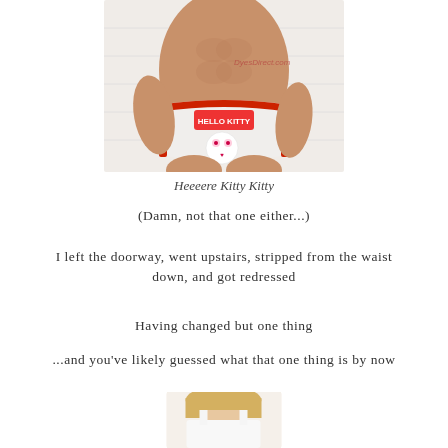[Figure (photo): Man wearing Hello Kitty underwear/briefs with red trim, watermark 'DyesDirect.com' visible]
Heeeere Kitty Kitty
(Damn, not that one either...)
I left the doorway, went upstairs, stripped from the waist down, and got redressed
Having changed but one thing
...and you've likely guessed what that one thing is by now
[Figure (photo): Woman in white tank top, partial view from shoulders down]